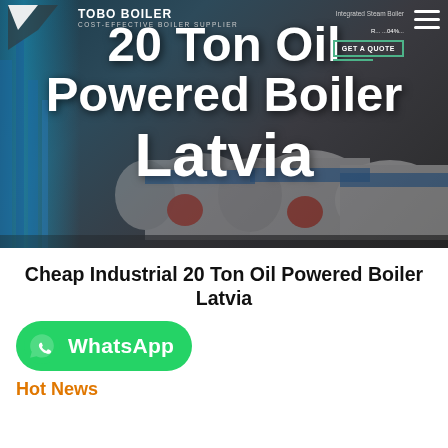[Figure (photo): Hero banner showing industrial steam boilers on a dark background with a company logo bar at top reading 'TOBO BOILER - COST-EFFECTIVE BOILER SUPPLIER' and large white overlay text '20 Ton Oil Powered Boiler Latvia'. Navigation elements include a hamburger menu icon, 'GET A QUOTE' button, and 'Integrated Steam Boiler' text on the right side.]
Cheap Industrial 20 Ton Oil Powered Boiler Latvia
[Figure (logo): WhatsApp button — green rounded rectangle with WhatsApp phone icon and text 'WhatsApp']
Hot News